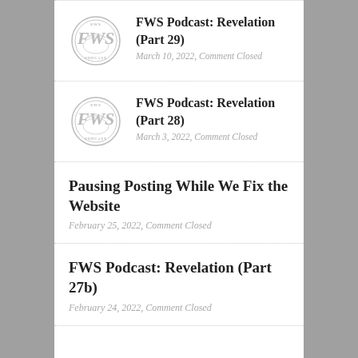FWS Podcast: Revelation (Part 29)
March 10, 2022, Comment Closed
FWS Podcast: Revelation (Part 28)
March 3, 2022, Comment Closed
Pausing Posting While We Fix the Website
February 25, 2022, Comment Closed
FWS Podcast: Revelation (Part 27b)
February 24, 2022, Comment Closed